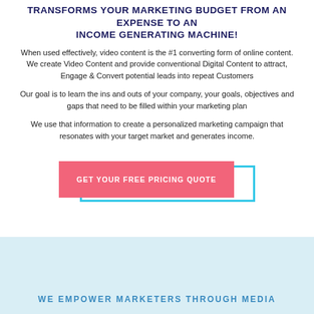TRANSFORMS YOUR MARKETING BUDGET FROM AN EXPENSE TO AN INCOME GENERATING MACHINE!
When used effectively, video content is the #1 converting form of online content. We create Video Content and provide conventional Digital Content to attract, Engage & Convert potential leads into repeat Customers
Our goal is to learn the ins and outs of your company, your goals, objectives and gaps that need to be filled within your marketing plan
We use that information to create a personalized marketing campaign that resonates with your target market and generates income.
[Figure (other): Pink call-to-action button reading GET YOUR FREE PRICING QUOTE with a cyan/light blue shadow border offset to the bottom-right]
WE EMPOWER MARKETERS THROUGH MEDIA